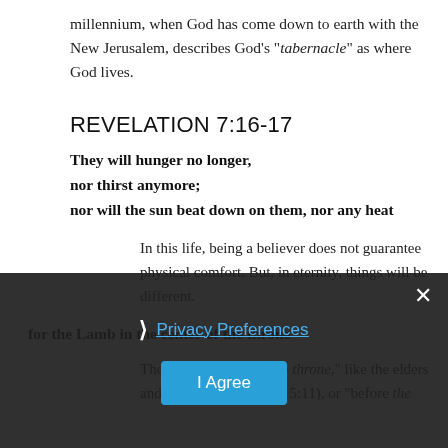millennium, when God has come down to earth with the New Jerusalem, describes God's "tabernacle" as where God lives.
REVELATION 7:16-17
They will hunger no longer,
nor thirst anymore;
nor will the sun beat down on them, nor any heat
In this life, being a believer does not guarantee physical comfort. But, in eternity, things will be different.
for the Lamb in the center of the throne
The Lamb is not "at" the throne, like the elders and the angels (Rev 4:4; 5:11), or "before the